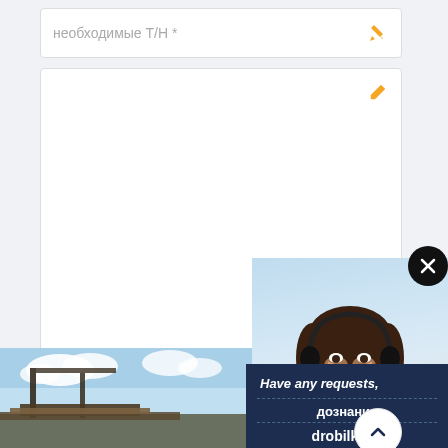необходимые Т/Н *
[Figure (screenshot): Large empty text area input box with a pencil icon in the top-right corner]
Отправить Сейчас
[Figure (photo): Customer service woman wearing headset smiling, overlaid on form]
Have any requests, click here.
Quotation
[Figure (photo): Industrial machinery/crane against blue sky at bottom of page]
дознание
drobilkalm